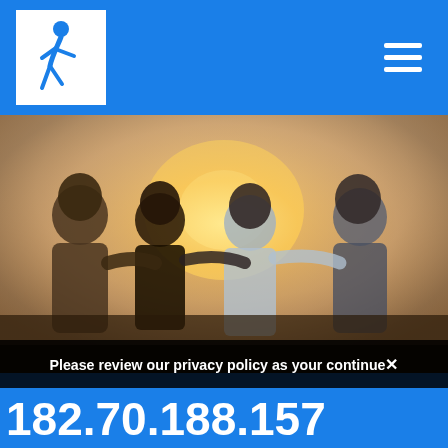Navigation header with walking person logo and hamburger menu
[Figure (photo): Four people seen from behind with arms around each other's shoulders, sitting together, warm golden sunset backlight, outdoor setting]
Please review our privacy policy as your continue ×
182.70.188.157